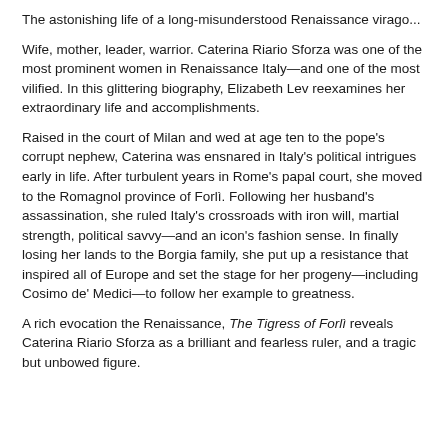The astonishing life of a long-misunderstood Renaissance virago...
Wife, mother, leader, warrior. Caterina Riario Sforza was one of the most prominent women in Renaissance Italy—and one of the most vilified. In this glittering biography, Elizabeth Lev reexamines her extraordinary life and accomplishments.
Raised in the court of Milan and wed at age ten to the pope's corrupt nephew, Caterina was ensnared in Italy's political intrigues early in life. After turbulent years in Rome's papal court, she moved to the Romagnol province of Forlì. Following her husband's assassination, she ruled Italy's crossroads with iron will, martial strength, political savvy—and an icon's fashion sense. In finally losing her lands to the Borgia family, she put up a resistance that inspired all of Europe and set the stage for her progeny—including Cosimo de' Medici—to follow her example to greatness.
A rich evocation the Renaissance, The Tigress of Forlì reveals Caterina Riario Sforza as a brilliant and fearless ruler, and a tragic but unbowed figure.